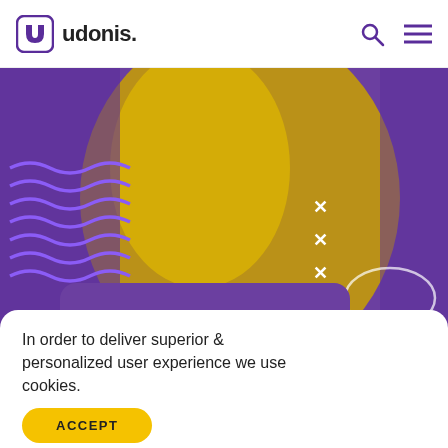udonis.
[Figure (photo): Yellow-tinted portrait photo of a woman looking upward with her hand near her face, overlaid with purple wavy decorative elements and white × symbols. A purple speech-bubble shape contains the text 'eCPMs Revealed!']
In order to deliver superior & personalized user experience we use cookies.
ACCEPT
Games in 2022